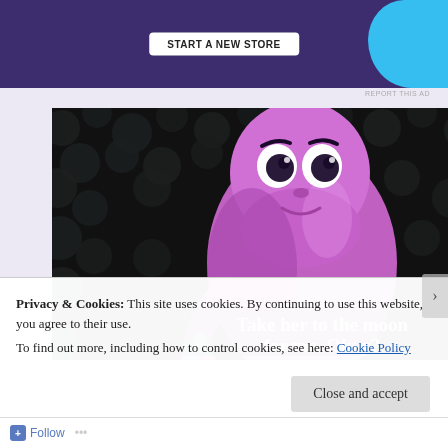[Figure (screenshot): Purple advertisement banner with a 'Start a new store' button and a blue circular shape on the right against dark purple background]
REPORT THIS AD
[Figure (screenshot): Animated character Bing Bong from Inside Out, a pink/purple elephant-cat creature holding flowers, against dark background with spherical objects. Watermark: SMALLHEROSIX. Subtitle text reads 'Take her to the moon for me. Okay?']
Privacy & Cookies: This site uses cookies. By continuing to use this website, you agree to their use.
To find out more, including how to control cookies, see here: Cookie Policy